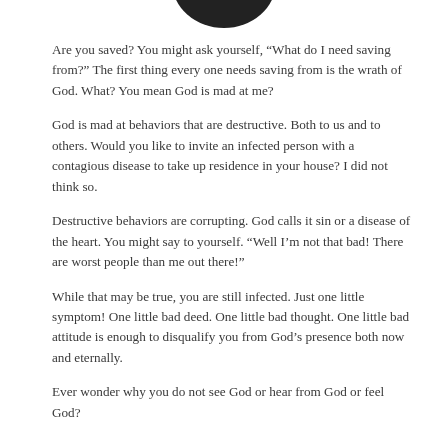[Figure (other): Partial bottom of a dark circular image or logo at the top of the page]
Are you saved? You might ask yourself, “What do I need saving from?” The first thing every one needs saving from is the wrath of God. What? You mean God is mad at me?
God is mad at behaviors that are destructive. Both to us and to others. Would you like to invite an infected person with a contagious disease to take up residence in your house? I did not think so.
Destructive behaviors are corrupting. God calls it sin or a disease of the heart. You might say to yourself. “Well I’m not that bad! There are worst people than me out there!”
While that may be true, you are still infected. Just one little symptom! One little bad deed. One little bad thought. One little bad attitude is enough to disqualify you from God’s presence both now and eternally.
Ever wonder why you do not see God or hear from God or feel God?